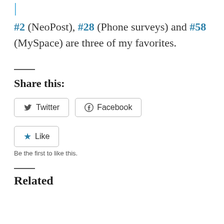#2 (NeoPost), #28 (Phone surveys) and #58 (MySpace) are three of my favorites.
Share this:
Twitter  Facebook
Like
Be the first to like this.
Related